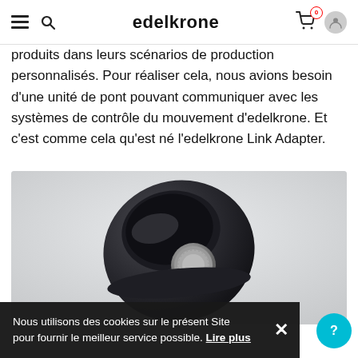edelkrone
produits dans leurs scénarios de production personnalisés. Pour réaliser cela, nous avions besoin d'une unité de pont pouvant communiquer avec les systèmes de contrôle du mouvement d'edelkrone. Et c'est comme cela qu'est né l'edelkrone Link Adapter.
[Figure (photo): Product photo of the edelkrone Link Adapter — a dark metallic triangular device with a round knurled dial and edelkrone branding, on a light grey background.]
Nous utilisons des cookies sur le présent Site pour fournir le meilleur service possible. Lire plus